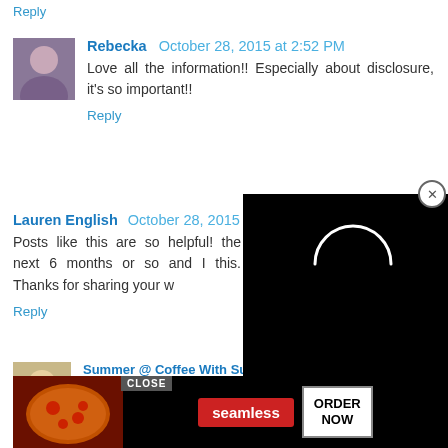Reply
Rebecka  October 28, 2015 at 2:52 PM
Love all the information!! Especially about disclosure, it's so important!!
Reply
Lauren English  October 28, 2015 at 4:36 PM
Posts like this are so helpful! ... the next 6 months or so and I ... this. Thanks for sharing your w...
Reply
[Figure (screenshot): Black video player overlay with white loading arc and close button]
Summer @ Coffee With Summer  October 28, 2015 at 5:48 PM
Fantastic post, Paige! Monetizing can be s...ult - it's d...
[Figure (screenshot): Seamless food delivery advertisement with pizza image, seamless logo, ORDER NOW button, and CLOSE button]